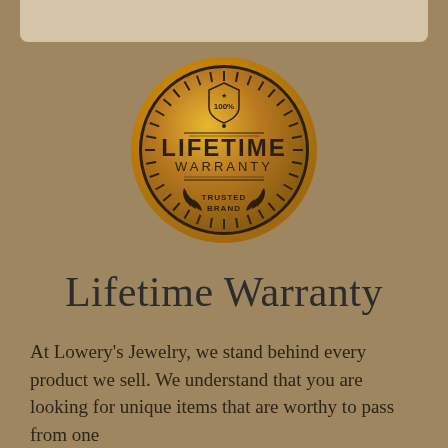[Figure (logo): Gold circular lifetime warranty badge/seal with '100%' shield at top, 'LIFETIME WARRANTY' text in center, and 'TRUSTED BRAND' with laurel wreath at bottom. Surrounded by tick marks and gold border rings.]
Lifetime Warranty
At Lowery's Jewelry, we stand behind every product we sell. We understand that you are looking for unique items that are worthy to pass from one